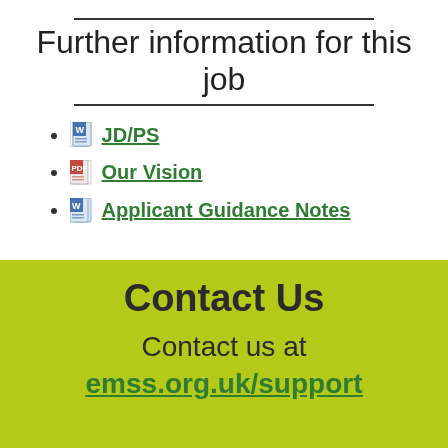Further information for this job
JD/PS
Our Vision
Applicant Guidance Notes
Contact Us
Contact us at
emss.org.uk/support